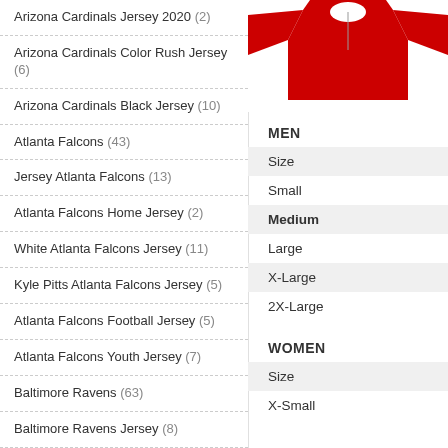Arizona Cardinals Jersey 2020 (2)
Arizona Cardinals Color Rush Jersey (6)
Arizona Cardinals Black Jersey (10)
Atlanta Falcons (43)
Jersey Atlanta Falcons (13)
Atlanta Falcons Home Jersey (2)
White Atlanta Falcons Jersey (11)
Kyle Pitts Atlanta Falcons Jersey (5)
Atlanta Falcons Football Jersey (5)
Atlanta Falcons Youth Jersey (7)
Baltimore Ravens (63)
Baltimore Ravens Jersey (8)
Jersey Baltimore Ravens (15)
Baltimore Ravens Jersey 2020 (5)
Baltimore Ravens Lamar Jackson
[Figure (photo): Red football jersey product image]
MEN
| Size |
| --- |
| Small |
| Medium |
| Large |
| X-Large |
| 2X-Large |
WOMEN
| Size |
| --- |
| X-Small |